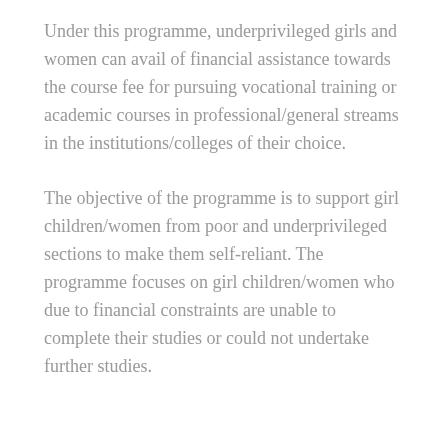Under this programme, underprivileged girls and women can avail of financial assistance towards the course fee for pursuing vocational training or academic courses in professional/general streams in the institutions/colleges of their choice.
The objective of the programme is to support girl children/women from poor and underprivileged sections to make them self-reliant. The programme focuses on girl children/women who due to financial constraints are unable to complete their studies or could not undertake further studies.